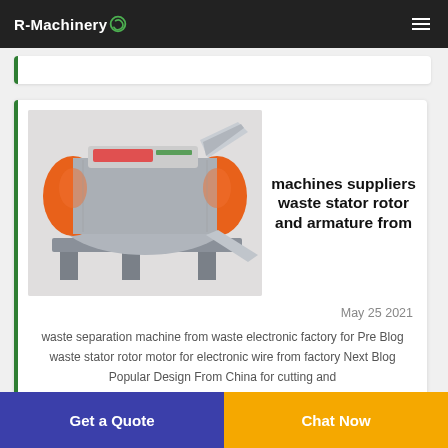R-Machinery
[Figure (photo): Industrial waste stator rotor and armature separation machine with orange and grey color scheme, featuring conveyor-style design with orange drum housing and a feed chute, mounted on a grey metal frame.]
machines suppliers waste stator rotor and armature from
May 25 2021
waste separation machine from waste electronic factory for Pre Blog waste stator rotor motor for electronic wire from factory Next Blog Popular Design From China for cutting and